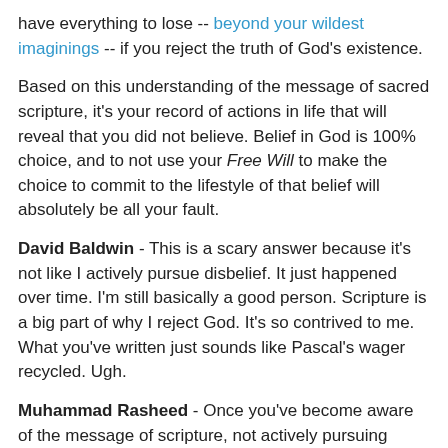have everything to lose -- beyond your wildest imaginings -- if you reject the truth of God's existence.
Based on this understanding of the message of sacred scripture, it's your record of actions in life that will reveal that you did not believe. Belief in God is 100% choice, and to not use your Free Will to make the choice to commit to the lifestyle of that belief will absolutely be all your fault.
David Baldwin - This is a scary answer because it's not like I actively pursue disbelief. It just happened over time. I'm still basically a good person. Scripture is a big part of why I reject God. It's so contrived to me. What you've written just sounds like Pascal's wager recycled. Ugh.
Muhammad Rasheed - Once you've become aware of the message of scripture, not actively pursuing belief is active pursuit of disbelief by default, David. You have to work to guard your believing lifestyle, and reject the temptations that attack it, even when they come from the depths of your own treacherous mind. On Judgment Day you will certainly be asked if you heard the message, and what you did once you